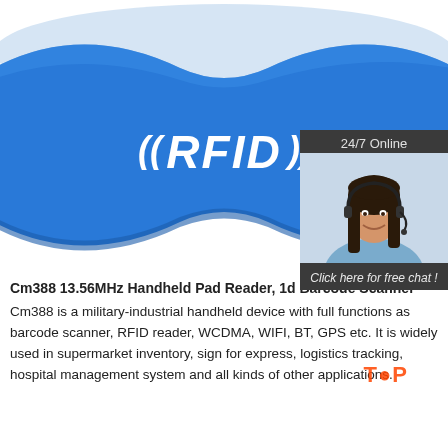[Figure (photo): Blue silicone RFID wristband with white ((RFID)) text and signal marks on a white background. In the upper right corner, a customer service chat widget shows a woman with a headset, '24/7 Online' text, 'Click here for free chat!' text, and an orange 'QUOTATION' button.]
Cm388 13.56MHz Handheld Pad Reader, 1d Barcode Scanner
Cm388 is a military-industrial handheld device with full functions as barcode scanner, RFID reader, WCDMA, WIFI, BT, GPS etc. It is widely used in supermarket inventory, sign for express, logistics tracking, hospital management system and all kinds of other applications.